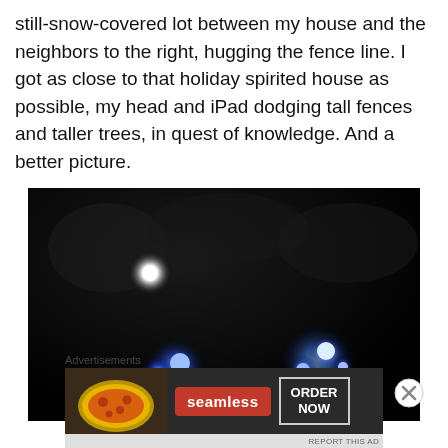still-snow-covered lot between my house and the neighbors to the right, hugging the fence line. I got as close to that holiday spirited house as possible, my head and iPad dodging tall fences and taller trees, in quest of knowledge. And a better picture.
[Figure (photo): Dark night-time photograph showing blue glowing light orbs near the ground and a white glowing orb higher up, all against a very dark background with faint tree shapes.]
Advertisements
[Figure (infographic): Seamless food delivery advertisement banner showing pizza image on left, red Seamless logo in center, and ORDER NOW button on right, on dark background.]